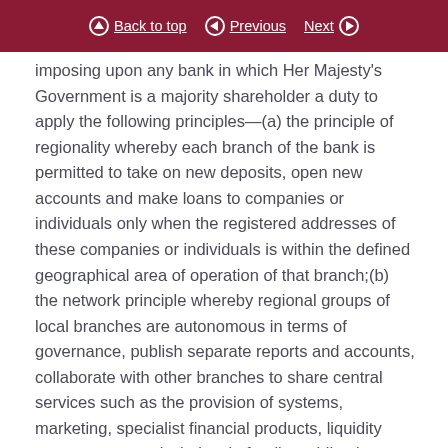Back to top | Previous | Next
imposing upon any bank in which Her Majesty's Government is a majority shareholder a duty to apply the following principles—(a) the principle of regionality whereby each branch of the bank is permitted to take on new deposits, open new accounts and make loans to companies or individuals only when the registered addresses of these companies or individuals is within the defined geographical area of operation of that branch;(b) the network principle whereby regional groups of local branches are autonomous in terms of governance, publish separate reports and accounts, collaborate with other branches to share central services such as the provision of systems, marketing, specialist financial products, liquidity management and wholesale funding while also